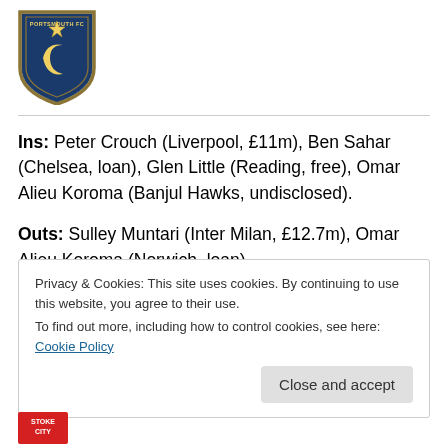[Figure (logo): Portsmouth FC club crest/badge - blue shield with gold star and crescent moon]
Ins: Peter Crouch (Liverpool, £11m), Ben Sahar (Chelsea, loan), Glen Little (Reading, free), Omar Alieu Koroma (Banjul Hawks, undisclosed).
Outs: Sulley Muntari (Inter Milan, £12.7m), Omar Alieu Koroma (Norwich, loan).
Privacy & Cookies: This site uses cookies. By continuing to use this website, you agree to their use.
To find out more, including how to control cookies, see here: Cookie Policy
[Figure (logo): Stoke City FC logo - partially visible at bottom]